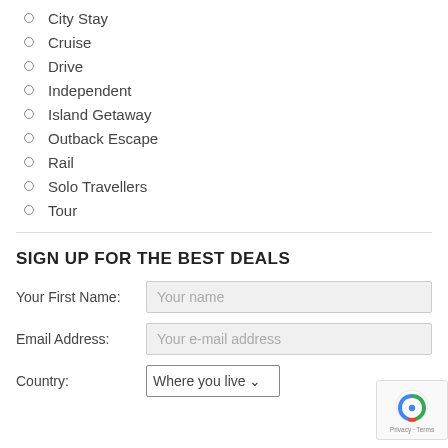City Stay
Cruise
Drive
Independent
Island Getaway
Outback Escape
Rail
Solo Travellers
Tour
SIGN UP FOR THE BEST DEALS
Your First Name: [Your name]
Email Address: [Your e-mail address]
Country: [Where you live]